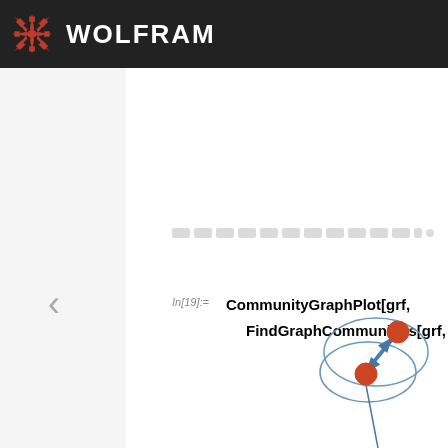WOLFRAM
[Figure (illustration): Wolfram logo (red snowflake/asterisk) with WOLFRAM text on dark background header bar]
[redacted/blurred text line]
In[19]:= CommunityGraphPlot[grf, FindGraphCommunities[grf, Method →
[Figure (network-graph): Partial network graph showing two nodes connected with directed arrows, enclosed in an oval/ellipse shape, bottom-right corner of page]